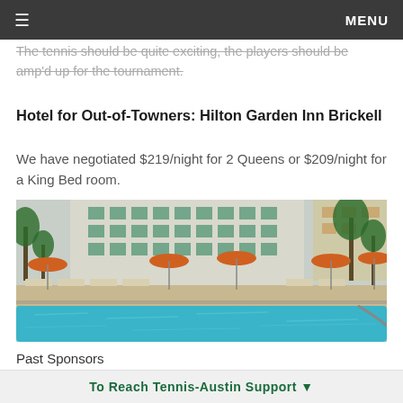≡  MENU
The tennis should be quite exciting, the players should be amp'd up for the tournament.
Hotel for Out-of-Towners: Hilton Garden Inn Brickell
We have negotiated $219/night for 2 Queens or $209/night for a King Bed room.
[Figure (photo): Outdoor pool area of the Hilton Garden Inn Brickell, showing lounge chairs, orange umbrellas, palm trees, and the hotel building facade.]
Past Sponsors
[Figure (logo): Past sponsor logo box 1 - partial circular logo visible]
[Figure (logo): Past sponsor logo box 2 - red text reading FIVE BAR & COMPANY or similar]
To Reach Tennis-Austin Support ▼